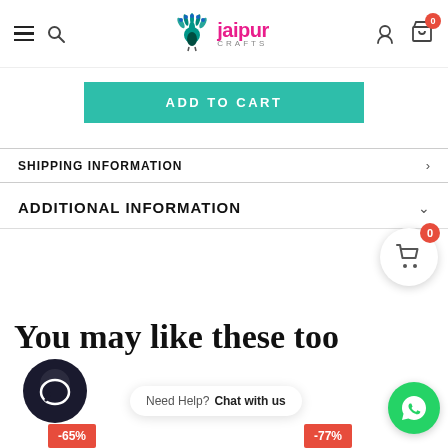Jaipur Crafts - navigation header with hamburger menu, search, logo, user and cart icons
ADD TO CART
SHIPPING INFORMATION
ADDITIONAL INFORMATION
[Figure (other): Floating cart button with badge showing 0]
You may like these too
[Figure (other): Chat bubble icon (dark circle)]
Need Help? Chat with us
[Figure (other): WhatsApp green button]
-65%
-77%